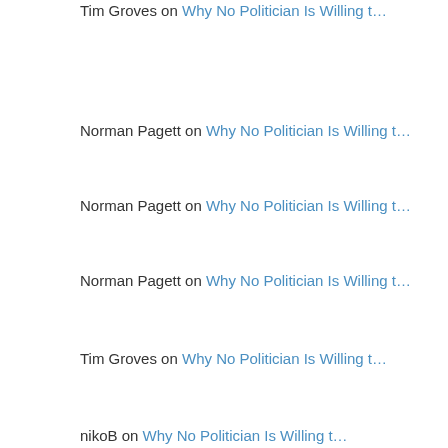Tim Groves on Why No Politician Is Willing t…
Norman Pagett on Why No Politician Is Willing t…
Norman Pagett on Why No Politician Is Willing t…
Norman Pagett on Why No Politician Is Willing t…
Tim Groves on Why No Politician Is Willing t…
nikoB on Why No Politician Is Willing t…
Kowalainen on Why No